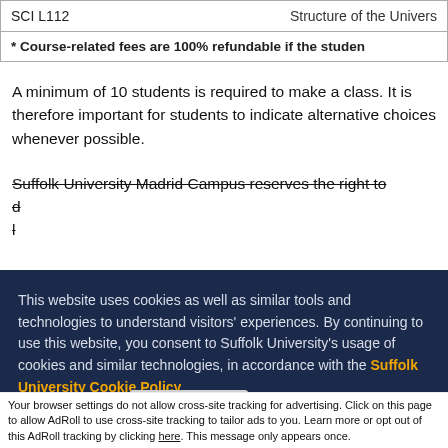| SCI L112 | Structure of the Univers |
| --- | --- |
| * Course-related fees are 100% refundable if the studen |  |
A minimum of 10 students is required to make a class. It is therefore important for students to indicate alternative choices whenever possible.
Suffolk University Madrid Campus reserves the right to d... l...
This website uses cookies as well as similar tools and technologies to understand visitors' experiences. By continuing to use this website, you consent to Suffolk University's usage of cookies and similar technologies, in accordance with the Suffolk University Cookie Policy.
Close
Accept and Close ✕
Your browser settings do not allow cross-site tracking for advertising. Click on this page to allow AdRoll to use cross-site tracking to tailor ads to you. Learn more or opt out of this AdRoll tracking by clicking here. This message only appears once.